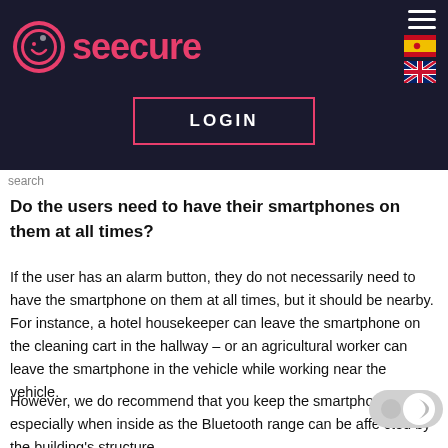[Figure (logo): Seecure logo with pink circular icon and pink text 'seecure' on dark background, hamburger menu icon, Spanish and UK flag icons]
[Figure (screenshot): LOGIN button with pink border on dark background]
search
Do the users need to have their smartphones on them at all times?
If the user has an alarm button, they do not necessarily need to have the smartphone on them at all times, but it should be nearby. For instance, a hotel housekeeper can leave the smartphone on the cleaning cart in the hallway – or an agricultural worker can leave the smartphone in the vehicle while working near the vehicle.
However, we do recommend that you keep the smartphone close, especially when inside as the Bluetooth range can be affected by the building's structure.